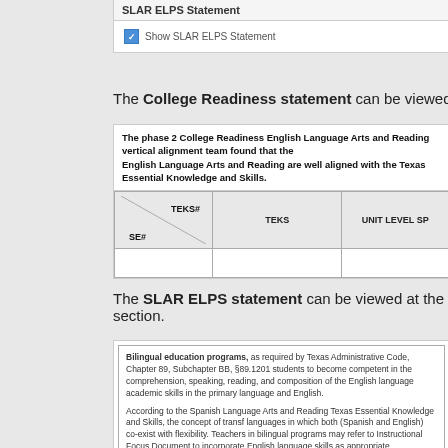SLAR ELPS Statement
Show SLAR ELPS Statement
The College Readiness statement can be viewed at the top of
| TEKS# / SE# | TEKS | UNIT LEVEL SP |
| --- | --- | --- |
The SLAR ELPS statement can be viewed at the bottom of the section.
Bilingual education programs, as required by Texas Administrative Code, Chapter 89, Subchapter BB, §89.1201 students to become competent in the comprehension, speaking, reading, and composition of the English language academic skills in the primary language and English. According to the Spanish Language Arts and Reading Texas Essential Knowledge and Skills, the concept of transf languages in which both (Spanish and English) co-exist with flexibility. Teachers in bilingual programs may refer to Instructional Focus Document to incorporate English language skills as appropriate.